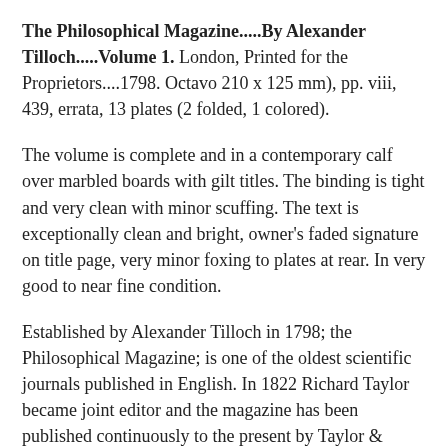The Philosophical Magazine.....By Alexander Tilloch.....Volume 1. London, Printed for the Proprietors....1798. Octavo 210 x 125 mm), pp. viii, 439, errata, 13 plates (2 folded, 1 colored).
The volume is complete and in a contemporary calf over marbled boards with gilt titles. The binding is tight and very clean with minor scuffing. The text is exceptionally clean and bright, owner's faded signature on title page, very minor foxing to plates at rear. In very good to near fine condition.
Established by Alexander Tilloch in 1798; the Philosophical Magazine; is one of the oldest scientific journals published in English. In 1822 Richard Taylor became joint editor and the magazine has been published continuously to the present by Taylor & Francis. The first paper to be published in the magazine is the important "Account of Mr